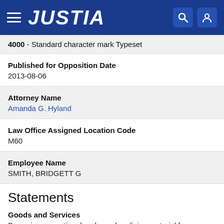JUSTIA
4000 - Standard character mark Typeset
Published for Opposition Date
2013-08-06
Attorney Name
Amanda G. Hyland
Law Office Assigned Location Code
M60
Employee Name
SMITH, BRIDGETT G
Statements
Goods and Services
Preparing promotional and merchandising material for